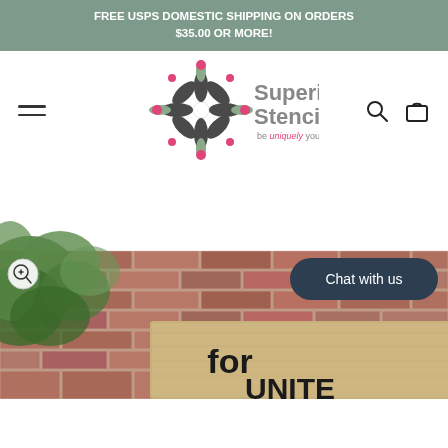FREE USPS DOMESTIC SHIPPING ON ORDERS $35.00 OR MORE!
[Figure (logo): Superior Stencils logo with decorative flower/snowflake motif in dark charcoal and pink/mauve colors, tagline 'be uniquely you!']
[Figure (photo): Product photo showing a wooden sign with bold text 'for' and partial text below, set against a brick wall background with green foliage on the left. A 'Chat with us' button overlay appears in the upper right of the photo area, and a zoom button in the upper left.]